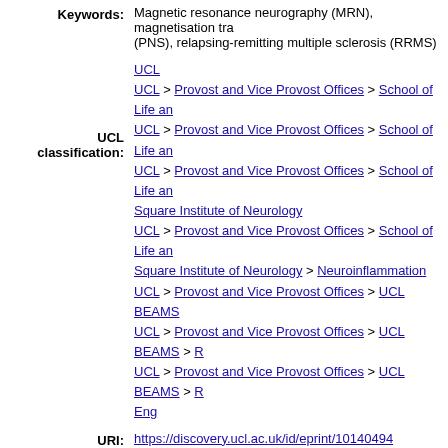Keywords: Magnetic resonance neurography (MRN), magnetisation transfer (PNS), relapsing-remitting multiple sclerosis (RRMS)
UCL classification: UCL; UCL > Provost and Vice Provost Offices > School of Life an...; UCL > Provost and Vice Provost Offices > School of Life an...; UCL > Provost and Vice Provost Offices > School of Life an... Square Institute of Neurology; UCL > Provost and Vice Provost Offices > School of Life an... Square Institute of Neurology > Neuroinflammation; UCL > Provost and Vice Provost Offices > UCL BEAMS; UCL > Provost and Vice Provost Offices > UCL BEAMS > R...; UCL > Provost and Vice Provost Offices > UCL BEAMS > R... Eng
URI: https://discovery.ucl.ac.uk/id/eprint/10140494
Downloads since deposit
[Figure (area-chart): Small area chart showing download history over time, with a peak early and a smaller spike in the middle, then flat.]
29 Downloads
Download activity - last month
[Figure (bar-chart): Bar chart showing download activity for last month, with y-axis label 4 visible and a horizontal gridline.]